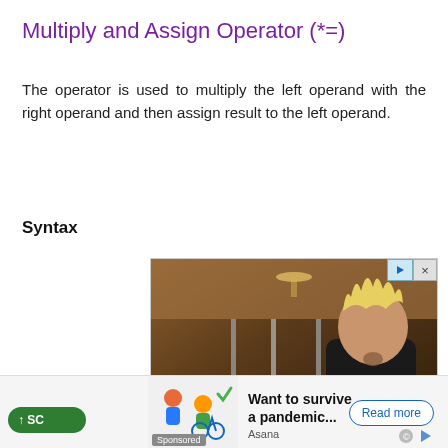Multiply and Assign Operator (*=)
The operator is used to multiply the left operand with the right operand and then assign result to the left operand.
Syntax
[Figure (photo): Advertisement showing a man with blonde spiky hair wearing a black shirt standing in what appears to be a restaurant kitchen setting. Ad has close/play buttons in top-right corner.]
[Figure (infographic): Bottom advertisement banner: 'Want to survive a pandemic...' by Asana with a 'Read more' button, showing illustrated characters, Sponsored label.]